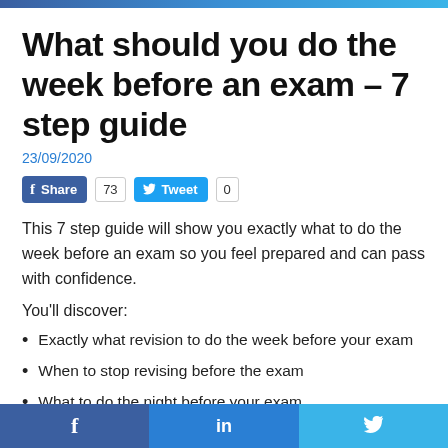What should you do the week before an exam – 7 step guide
23/09/2020
Share 73  Tweet 0
This 7 step guide will show you exactly what to do the week before an exam so you feel prepared and can pass with confidence.
You'll discover:
Exactly what revision to do the week before your exam
When to stop revising before the exam
What to do the night before your exam
How to use mock questions
f  in  (twitter bird)